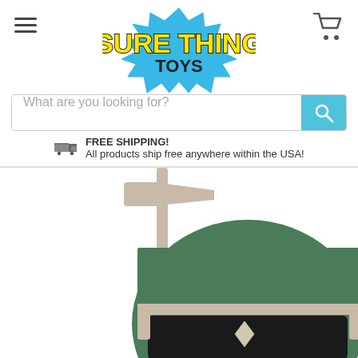[Figure (logo): Sure Thing Toys logo — yellow and black text on a blue spiky comic-book burst shape]
[Figure (screenshot): Search bar with placeholder text 'What are you looking for?' and a cyan search button with magnifying glass icon]
FREE SHIPPING! All products ship free anywhere within the USA!
[Figure (photo): Product photo of a green and gray Power Rangers styled action figure helmet/mask — close-up showing the top and visor portion]